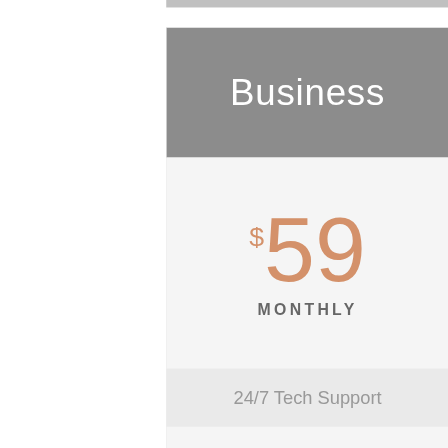Business
$59 MONTHLY
24/7 Tech Support
200GB Storage
2GB Bandwidth
Free Upgrades